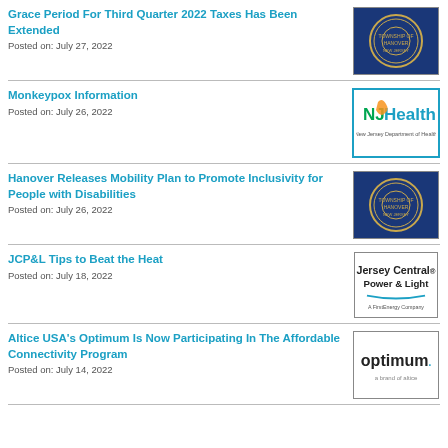Grace Period For Third Quarter 2022 Taxes Has Been Extended
Posted on: July 27, 2022
[Figure (logo): Township of Hanover NJ official seal on blue background]
Monkeypox Information
Posted on: July 26, 2022
[Figure (logo): NJ Health - New Jersey Department of Health logo with teal border]
Hanover Releases Mobility Plan to Promote Inclusivity for People with Disabilities
Posted on: July 26, 2022
[Figure (logo): Township of Hanover NJ official seal on blue background]
JCP&L Tips to Beat the Heat
Posted on: July 18, 2022
[Figure (logo): Jersey Central Power & Light - A FirstEnergy Company logo]
Altice USA's Optimum Is Now Participating In The Affordable Connectivity Program
Posted on: July 14, 2022
[Figure (logo): Optimum - a brand of altice logo]